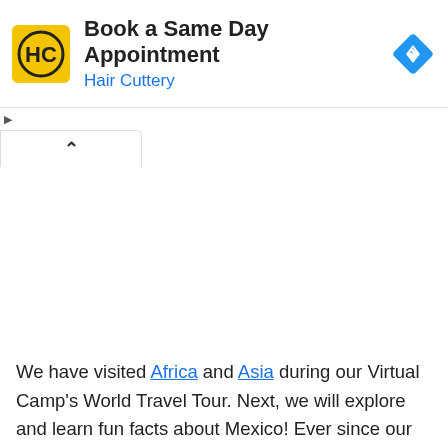[Figure (screenshot): Hair Cuttery advertisement banner with yellow HC logo, text 'Book a Same Day Appointment' and 'Hair Cuttery' in blue, blue diamond navigation icon on right]
[Figure (screenshot): Browser tab bar showing a collapsed/minimized tab with a chevron up arrow]
We have visited Africa and Asia during our Virtual Camp's World Travel Tour. Next, we will explore and learn fun facts about Mexico! Ever since our Cinco de Mayo Activities for Kids, my children have been asking to learn more about